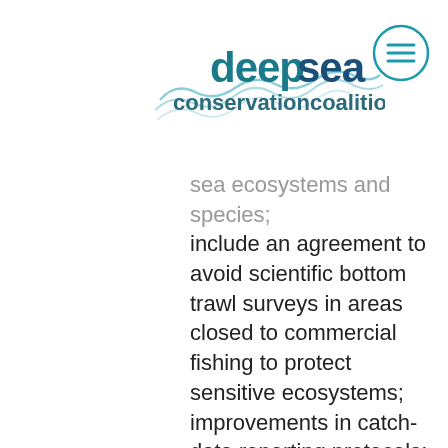[Figure (logo): Deep Sea Conservation Coalition logo with wave graphic, teal and navy text reading 'deepsea conservationcoalition']
[Figure (other): Circular hamburger menu icon with three horizontal lines, teal outline]
sea ecosystems and species; include an agreement to avoid scientific bottom trawl surveys in areas closed to commercial fishing to protect sensitive ecosystems; improvements in catch-data reporting protocols; and long-overdue measures to ensure that bycatch of deep-sea corals, sponges and other vulnerable species can be formally recorded. NAFO also improved protocols for recording bycatch of